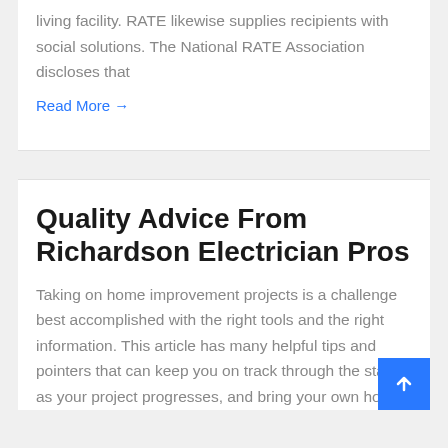living facility. RATE likewise supplies recipients with social solutions. The National RATE Association discloses that
Read More →
Quality Advice From Richardson Electrician Pros
Taking on home improvement projects is a challenge best accomplished with the right tools and the right information. This article has many helpful tips and pointers that can keep you on track through the stages as your project progresses, and bring your own home